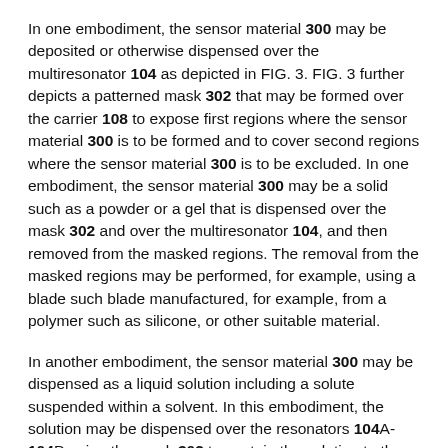In one embodiment, the sensor material 300 may be deposited or otherwise dispensed over the multiresonator 104 as depicted in FIG. 3. FIG. 3 further depicts a patterned mask 302 that may be formed over the carrier 108 to expose first regions where the sensor material 300 is to be formed and to cover second regions where the sensor material 300 is to be excluded. In one embodiment, the sensor material 300 may be a solid such as a powder or a gel that is dispensed over the mask 302 and over the multiresonator 104, and then removed from the masked regions. The removal from the masked regions may be performed, for example, using a blade such blade manufactured, for example, from a polymer such as silicone, or other suitable material.
In another embodiment, the sensor material 300 may be dispensed as a liquid solution including a solute suspended within a solvent. In this embodiment, the solution may be dispensed over the resonators 104A-104D using the mask 302 to contain the solution to the regions of the multiresonator 104. The solvent may then be removed using an appropriate curing process, leaving the solute as a solid.